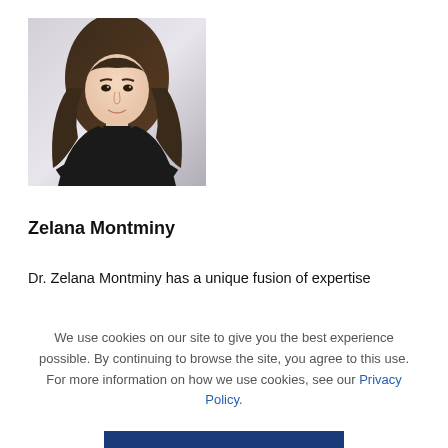[Figure (photo): Professional headshot of Zelana Montminy, a woman with long brown wavy hair wearing a black top, arms crossed, against a light gray background.]
Zelana Montminy
Dr. Zelana Montminy has a unique fusion of expertise
We use cookies on our site to give you the best experience possible. By continuing to browse the site, you agree to this use. For more information on how we use cookies, see our Privacy Policy.
CONTINUE